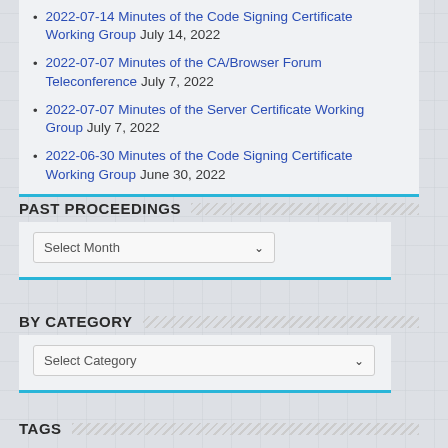2022-07-14 Minutes of the Code Signing Certificate Working Group July 14, 2022
2022-07-07 Minutes of the CA/Browser Forum Teleconference July 7, 2022
2022-07-07 Minutes of the Server Certificate Working Group July 7, 2022
2022-06-30 Minutes of the Code Signing Certificate Working Group June 30, 2022
PAST PROCEEDINGS
Select Month
BY CATEGORY
Select Category
TAGS